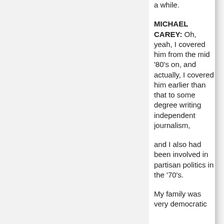a while.
MICHAEL CAREY: Oh, yeah, I covered him from the mid '80's on, and actually, I covered him earlier than that to some degree writing independent journalism,
and I also had been involved in partisan politics in the '70's.
My family was very democratic